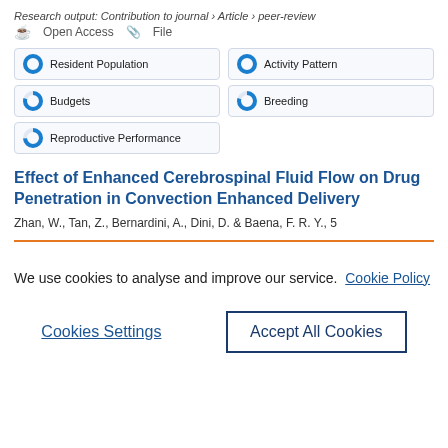Research output: Contribution to journal › Article › peer-review
Open Access   File
Resident Population
Activity Pattern
Budgets
Breeding
Reproductive Performance
Effect of Enhanced Cerebrospinal Fluid Flow on Drug Penetration in Convection Enhanced Delivery
Zhan, W., Tan, Z., Bernardini, A., Dini, D. & Baena, F. R. Y., 5
We use cookies to analyse and improve our service.  Cookie Policy
Cookies Settings
Accept All Cookies